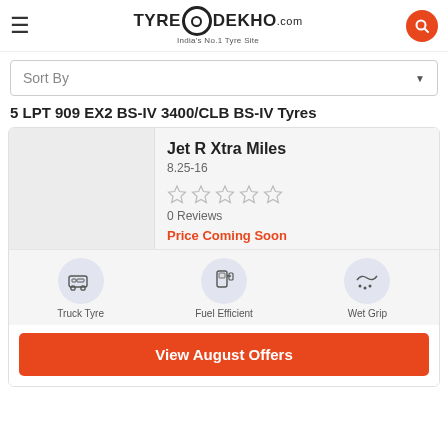TyreDekho.com — India's No.1 Tyre Site
Sort By
5 LPT 909 EX2 BS-IV 3400/CLB BS-IV Tyres
Jet R Xtra Miles
8.25-16
0 Reviews
Price Coming Soon
Truck Tyre  Fuel Efficient  Wet Grip
View August Offers